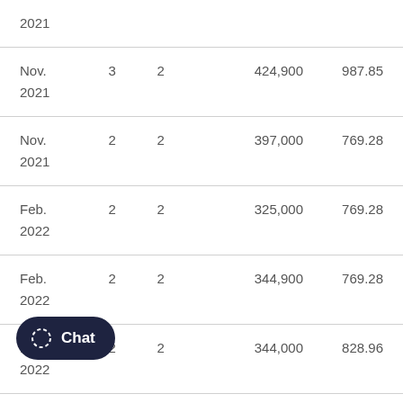| Date | Col1 | Col2 | Amount | Price |
| --- | --- | --- | --- | --- |
| 2021 |  |  |  |  |
| Nov. 2021 | 3 | 2 | 424,900 | 987.85 |
| Nov. 2021 | 2 | 2 | 397,000 | 769.28 |
| Feb. 2022 | 2 | 2 | 325,000 | 769.28 |
| Feb. 2022 | 2 | 2 | 344,900 | 769.28 |
| Feb. 2022 | 2 | 2 | 344,000 | 828.96 |
| 2022 | 2 | 2 | 329,900 | 828.96 |